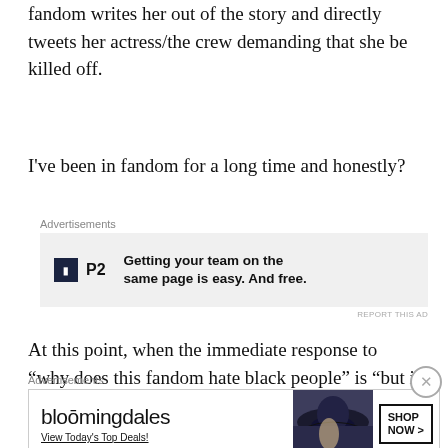fandom writes her out of the story and directly tweets her actress/the crew demanding that she be killed off.
I've been in fandom for a long time and honestly?
[Figure (other): Advertisement banner for P2 app: logo with dark square labeled 'P2' and text 'Getting your team on the same page is easy. And free.']
At this point, when the immediate response to “why does this fandom hate black people” is “but i like [specific black character the person never writes or talks about outside of their relationships with
[Figure (other): Advertisement banner for Bloomingdale's: 'View Today's Top Deals!' with image of woman in hat and 'SHOP NOW >' button]